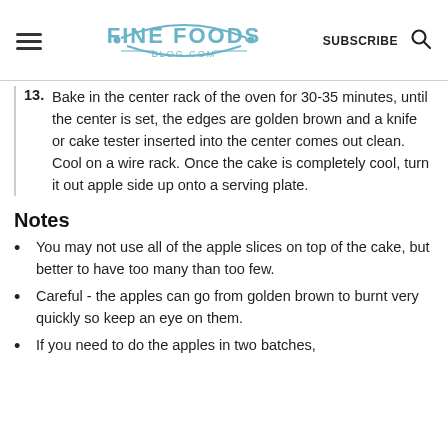FINE FOODS BLOG.COM | SUBSCRIBE
13. Bake in the center rack of the oven for 30-35 minutes, until the center is set, the edges are golden brown and a knife or cake tester inserted into the center comes out clean. Cool on a wire rack. Once the cake is completely cool, turn it out apple side up onto a serving plate.
Notes
You may not use all of the apple slices on top of the cake, but better to have too many than too few.
Careful - the apples can go from golden brown to burnt very quickly so keep an eye on them.
If you need to do the apples in two batches,